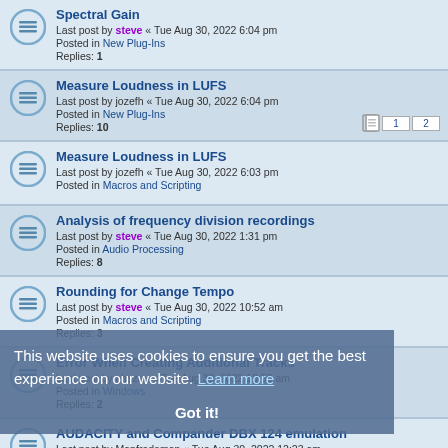Spectral Gain
Last post by steve « Tue Aug 30, 2022 6:04 pm
Posted in New Plug-Ins
Replies: 1
Measure Loudness in LUFS
Last post by jozefh « Tue Aug 30, 2022 6:04 pm
Posted in New Plug-Ins
Replies: 10
Measure Loudness in LUFS
Last post by jozefh « Tue Aug 30, 2022 6:03 pm
Posted in Macros and Scripting
Analysis of frequency division recordings
Last post by steve « Tue Aug 30, 2022 1:31 pm
Posted in Audio Processing
Replies: 8
Rounding for Change Tempo
Last post by steve « Tue Aug 30, 2022 10:52 am
Posted in Macros and Scripting
Replies: 3
Error When Creating Additional Tracks
Last post by chazau « Tue Aug 30, 2022 10:50 am
Posted in Windows
Replies: 2
AUDACITY and Compander DBX 124 emulation
Last post by Manfredoman « Tue Aug 30, 2022 12:23 am
Posted in Adding Features to Audacity
Replies: 6
Recording Has No Sound
This website uses cookies to ensure you get the best experience on our website. Learn more
Got it!